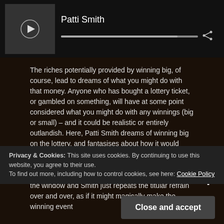[Figure (screenshot): Media player bar showing a black-and-white thumbnail with play button, artist name 'Patti Smith', a progress bar, and a share icon]
The riches potentially provided by winning big, of course, lead to dreams of what you might do with that money. Anyone who has bought a lottery ticket, or gambled on something, will have at some point considered what you might do with any winnings (big or small) – and it could be realistic or entirely outlandish. Here, Patti Smith dreams of winning big on the lottery, and fantasises about how it would change her and her lover's life for the better, and "buy things you never had" – and as the song gallops to the climax, all rational thought goes out of the window and Smith just repeats the titular refrain over and over, as if it might magically make the winning event
Privacy & Cookies: This site uses cookies. By continuing to use this website, you agree to their use.
To find out more, including how to control cookies, see here: Cookie Policy
Close and accept